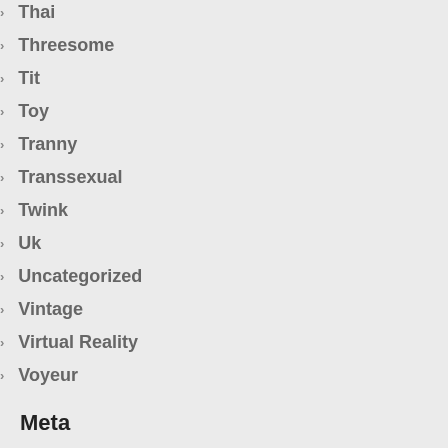Thai
Threesome
Tit
Toy
Tranny
Transsexual
Twink
Uk
Uncategorized
Vintage
Virtual Reality
Voyeur
Meta
Log in